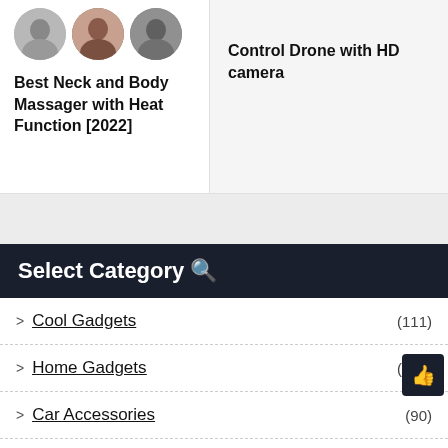[Figure (photo): Three circular avatar photos in a row]
Best Neck and Body Massager with Heat Function [2022]
Control Drone with HD camera
Select Category 🔍
> Cool Gadgets (111)
> Home Gadgets (103)
> Car Accessories (90)
> Kitchen Products (77)
> Mobile Accessories (88)
> Travel Gadgets (53)